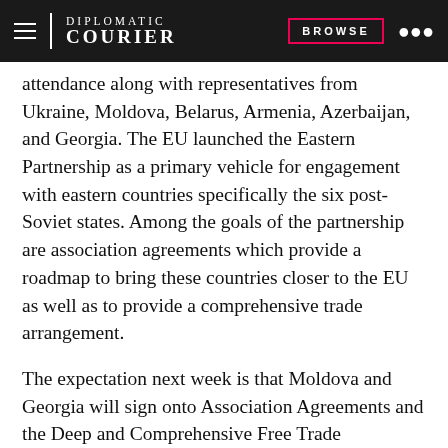DIPLOMATIC COURIER | BROWSE
attendance along with representatives from Ukraine, Moldova, Belarus, Armenia, Azerbaijan, and Georgia. The EU launched the Eastern Partnership as a primary vehicle for engagement with eastern countries specifically the six post-Soviet states. Among the goals of the partnership are association agreements which provide a roadmap to bring these countries closer to the EU as well as to provide a comprehensive trade arrangement.
The expectation next week is that Moldova and Georgia will sign onto Association Agreements and the Deep and Comprehensive Free Trade Agreements. Ukraine was expected to also have an association agreement but recently has postponed preparations for signing such an agreement. These agreements are important to drive economic modernization and to open up trading